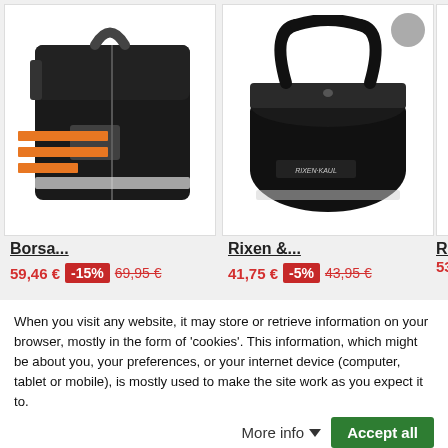[Figure (photo): Black bicycle pannier bag product photo]
[Figure (photo): Black Rixen & Kaul bicycle basket bag product photo]
[Figure (photo): Partial black bicycle product photo (third item, partially visible)]
Borsa...
59,46 €  -15%  69,95 €
Rixen &...
41,75 €  -5%  43,95 €
Rix
53,5
When you visit any website, it may store or retrieve information on your browser, mostly in the form of 'cookies'. This information, which might be about you, your preferences, or your internet device (computer, tablet or mobile), is mostly used to make the site work as you expect it to.
More info
Accept all